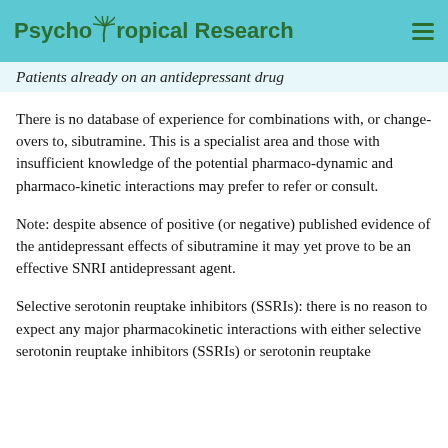PsychoTropical Research
Patients already on an antidepressant drug
There is no database of experience for combinations with, or change-overs to, sibutramine. This is a specialist area and those with insufficient knowledge of the potential pharmaco-dynamic and pharmaco-kinetic interactions may prefer to refer or consult.
Note: despite absence of positive (or negative) published evidence of the antidepressant effects of sibutramine it may yet prove to be an effective SNRI antidepressant agent.
Selective serotonin reuptake inhibitors (SSRIs): there is no reason to expect any major pharmacokinetic interactions with either selective serotonin reuptake inhibitors (SSRIs) or serotonin reuptake...